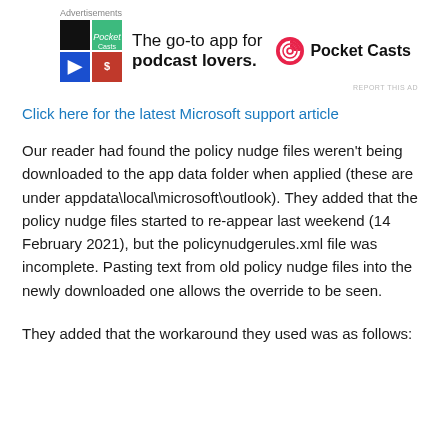[Figure (other): Advertisement banner for Pocket Casts app showing colorful tile icon, tagline 'The go-to app for podcast lovers.' and Pocket Casts logo]
Click here for the latest Microsoft support article
Our reader had found the policy nudge files weren't being downloaded to the app data folder when applied (these are under appdata\local\microsoft\outlook). They added that the policy nudge files started to re-appear last weekend (14 February 2021), but the policynudgerules.xml file was incomplete. Pasting text from old policy nudge files into the newly downloaded one allows the override to be seen.
They added that the workaround they used was as follows: